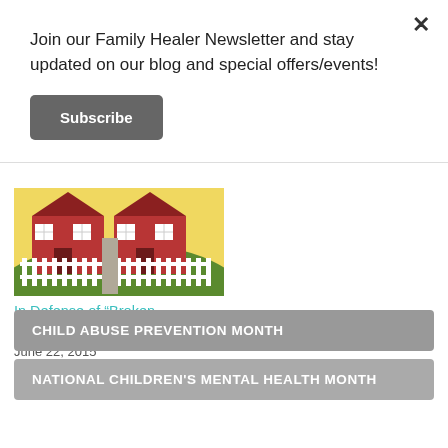Join our Family Healer Newsletter and stay updated on our blog and special offers/events!
Subscribe
[Figure (illustration): Colorful illustration of two red houses with white picket fence on green and yellow background]
In Defense of “Broken Families”By Ron…
June 22, 2015
In "Family Healer Blog"
CHILD ABUSE PREVENTION MONTH
NATIONAL CHILDREN'S MENTAL HEALTH MONTH